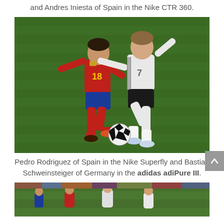and Andres Iniesta of Spain in the Nike CTR 360.
[Figure (photo): Pedro Rodriguez of Spain (red jersey, number 18) competing for the ball with Bastian Schweinsteiger of Germany (white jersey, number 7) on a green football pitch. Pedro is in red Spain kit, Schweinsteiger in white/black Germany kit.]
Pedro Rodriguez of Spain in the Nike Superfly and Bastian Schweinsteiger of Germany in the adidas adiPure III.
[Figure (photo): Partial view of another football match scene on a green pitch with players and crowd visible.]